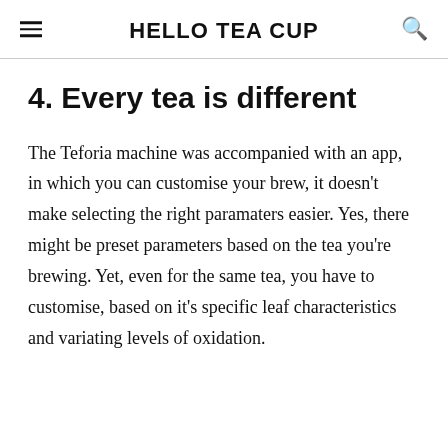HELLO TEA CUP
4. Every tea is different
The Teforia machine was accompanied with an app, in which you can customise your brew, it doesn't make selecting the right paramaters easier. Yes, there might be preset parameters based on the tea you're brewing. Yet, even for the same tea, you have to customise, based on it's specific leaf characteristics and variating levels of oxidation.